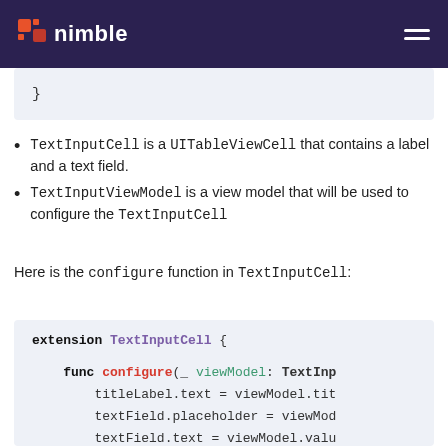nimble
[Figure (screenshot): Code block showing closing brace of a code block]
TextInputCell is a UITableViewCell that contains a label and a text field.
TextInputViewModel is a view model that will be used to configure the TextInputCell
Here is the configure function in TextInputCell:
[Figure (screenshot): Code block showing extension TextInputCell with func configure(_ viewModel: TextInp... titleLabel.text = viewModel.tit... textField.placeholder = viewMod... textField.text = viewModel.valu]